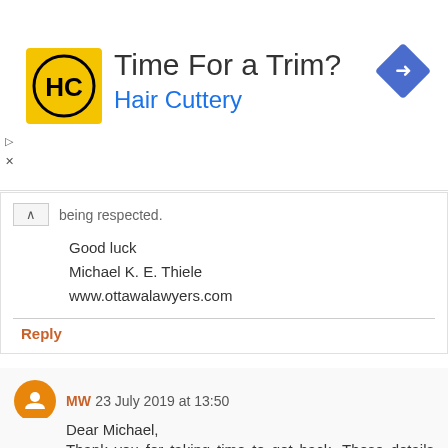[Figure (other): Hair Cuttery advertisement banner with logo (HC in circle), title 'Time For a Trim?', subtitle 'Hair Cuttery', and a blue navigation arrow icon on the right]
being respected.
Good luck
Michael K. E. Thiele
www.ottawalawyers.com
Reply
MW 23 July 2019 at 13:50
Dear Michael,

Thank you for taking time to get back. These details are very helpful for me.

Kindest
Reply